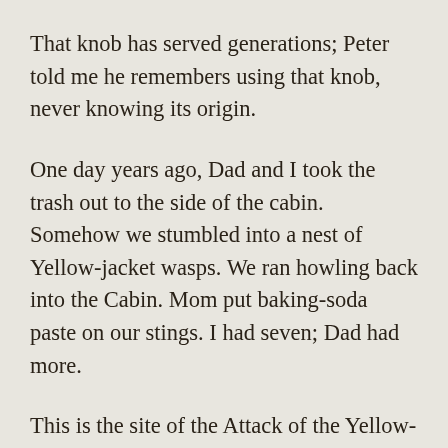That knob has served generations; Peter told me he remembers using that knob, never knowing its origin.
One day years ago, Dad and I took the trash out to the side of the cabin. Somehow we stumbled into a nest of Yellow-jacket wasps. We ran howling back into the Cabin. Mom put baking-soda paste on our stings. I had seven; Dad had more.
This is the site of the Attack of the Yellow-jackets.